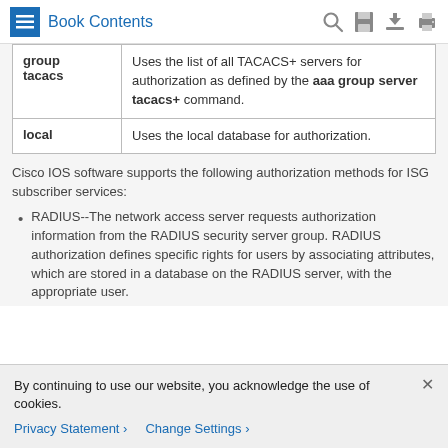Book Contents
|  |  |
| --- | --- |
| group tacacs | Uses the list of all TACACS+ servers for authorization as defined by the aaa group server tacacs+ command. |
| local | Uses the local database for authorization. |
Cisco IOS software supports the following authorization methods for ISG subscriber services:
RADIUS--The network access server requests authorization information from the RADIUS security server group. RADIUS authorization defines specific rights for users by associating attributes, which are stored in a database on the RADIUS server, with the appropriate user.
By continuing to use our website, you acknowledge the use of cookies.
Privacy Statement > Change Settings >